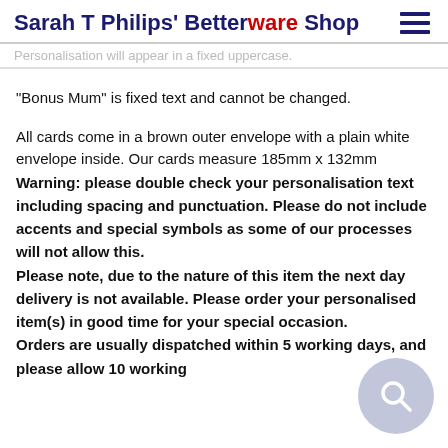Sarah T Philips' Betterware Shop
Personalisation will appear in a fixed uppercase.
"Bonus Mum" is fixed text and cannot be changed.
All cards come in a brown outer envelope with a plain white envelope inside. Our cards measure 185mm x 132mm
Warning: please double check your personalisation text including spacing and punctuation. Please do not include accents and special symbols as some of our processes will not allow this.
Please note, due to the nature of this item the next day delivery is not available. Please order your personalised item(s) in good time for your special occasion.
Orders are usually dispatched within 5 working days, and please allow 10 working